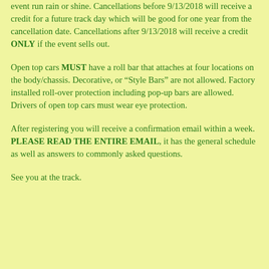event run rain or shine. Cancellations before 9/13/2018 will receive a credit for a future track day which will be good for one year from the cancellation date. Cancellations after 9/13/2018 will receive a credit ONLY if the event sells out.
Open top cars MUST have a roll bar that attaches at four locations on the body/chassis. Decorative, or “Style Bars” are not allowed. Factory installed roll-over protection including pop-up bars are allowed. Drivers of open top cars must wear eye protection.
After registering you will receive a confirmation email within a week. PLEASE READ THE ENTIRE EMAIL, it has the general schedule as well as answers to commonly asked questions.
See you at the track.